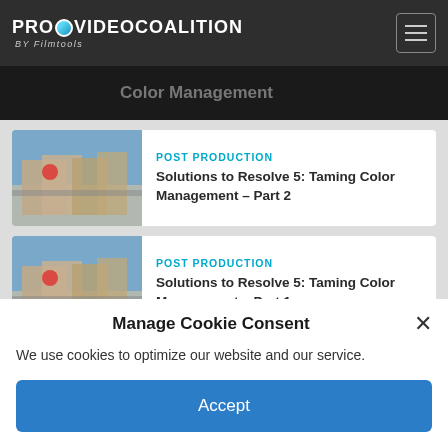PROVIDEO COALITION by Filmtools
Color Management
POST PRODUCTION
Solutions to Resolve 5: Taming Color Management – Part 2
POST PRODUCTION
Solutions to Resolve 5: Taming Color Management – Part 1
Manage Cookie Consent
We use cookies to optimize our website and our service.
Accept